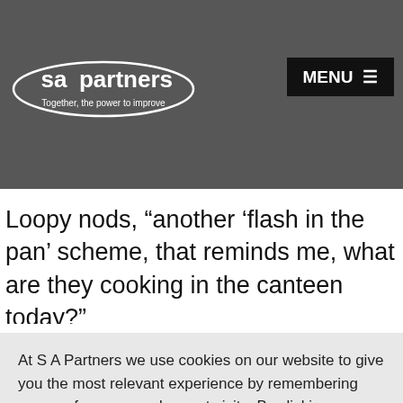[Figure (screenshot): SA Partners website header with dark overlay showing partial background text, SA Partners logo on left, and MENU button on right]
Loopy nods, “another ‘flash in the pan’ scheme, that reminds me, what are they cooking in the canteen today?”
“Well its Thursday real proper Welsh grub, curry. Anita told me it’s going to be an extra hot one this time so
At S A Partners we use cookies on our website to give you the most relevant experience by remembering your preferences and repeat visits. By clicking “Accept All”, you consent to the use of ALL the cookies. However, you may visit “Cookie Settings” to provide a controlled consent.
Cookie Settings | Accept All